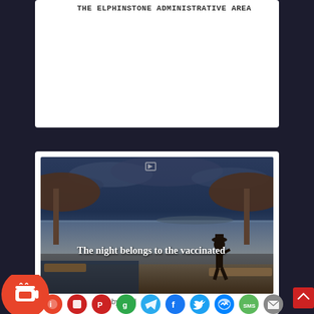The Elphinstone Administrative Area
[Figure (photo): Beach scene at dusk/night with silhouette of person standing, thatched umbrellas on sides, sea and cloudy sky in background. Text overlay reads 'The night belongs to the vaccinated']
The night belongs to the vaccinated
by Ged
[Figure (infographic): Row of social sharing icons: coffee cup (Buy me a coffee), torch/share, Parler, Gab, Telegram, Facebook, Twitter, Messenger, SMS, Email, and a red card with up arrow]